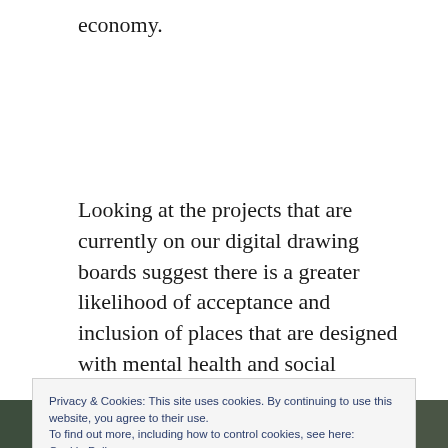economy.
Looking at the projects that are currently on our digital drawing boards suggest there is a greater likelihood of acceptance and inclusion of places that are designed with mental health and social responsibility in mind.
Privacy & Cookies: This site uses cookies. By continuing to use this website, you agree to their use.
To find out more, including how to control cookies, see here:
Cookie Policy
[Figure (photo): Bottom strip showing a building exterior with trees and glass facade, partially visible.]